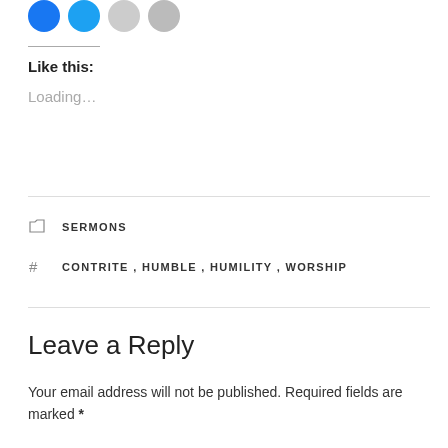[Figure (illustration): Four social sharing icon circles: two blue (Facebook and Twitter), two grey]
Like this:
Loading...
SERMONS
CONTRITE , HUMBLE , HUMILITY , WORSHIP
Leave a Reply
Your email address will not be published. Required fields are marked *